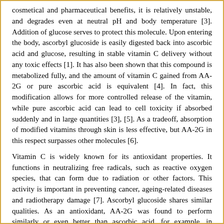cosmetical and pharmaceutical benefits, it is relatively unstable, and degrades even at neutral pH and body temperature [3]. Addition of glucose serves to protect this molecule. Upon entering the body, ascorbyl glucoside is easily digested back into ascorbic acid and glucose, resulting in stable vitamin C delivery without any toxic effects [1]. It has also been shown that this compound is metabolized fully, and the amount of vitamin C gained from AA-2G or pure ascorbic acid is equivalent [4]. In fact, this modification allows for more controlled release of the vitamin, while pure ascorbic acid can lead to cell toxicity if absorbed suddenly and in large quantities [3], [5]. As a tradeoff, absorption of modified vitamins through skin is less effective, but AA-2G in this respect surpasses other molecules [6].
Vitamin C is widely known for its antioxidant properties. It functions in neutralizing free radicals, such as reactive oxygen species, that can form due to radiation or other factors. This activity is important in preventing cancer, ageing-related diseases and radiotherapy damage [7]. Ascorbyl glucoside shares similar qualities. As an antioxidant, AA-2G was found to perform similarly or even better than ascorbic acid, for example, in protecting skin cells from ultraviolet radiation [8], [9]. It was also observed to protect cells against damage from high-energy radiation, similar to that used in radiotherapy [7]. Recent research confirmed that AA-2G protects skin cells not only from oxidative stress (free radicals), but also from cellular senescence [10]. Ascorbyl glucoside even  has a positive effect on immunity, as it promotes antibody synthesis in lymphocytes [11]. Again, ascorbic acid has similar